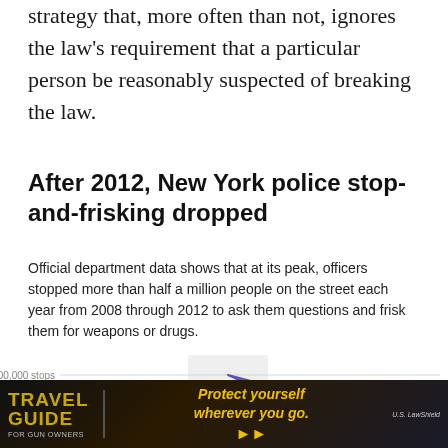strategy that, more often than not, ignores the law's requirement that a particular person be reasonably suspected of breaking the law.
After 2012, New York police stop-and-frisking dropped
Official department data shows that at its peak, officers stopped more than half a million people on the street each year from 2008 through 2012 to ask them questions and frisk them for weapons or drugs.
[Figure (line-chart): NY Police Stop-and-Frisk]
[Figure (photo): Advertisement banner: Travel Guide for Gun Owners - Protect yourself wherever you go. US LawShield.]